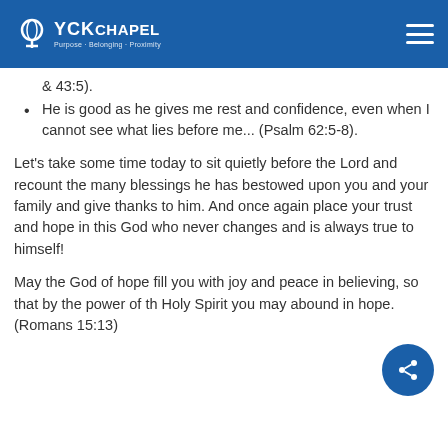YCK Chapel
& 43:5).
He is good as he gives me rest and confidence, even when I cannot see what lies before me... (Psalm 62:5-8).
Let's take some time today to sit quietly before the Lord and recount the many blessings he has bestowed upon you and your family and give thanks to him. And once again place your trust and hope in this God who never changes and is always true to himself!
May the God of hope fill you with joy and peace in believing, so that by the power of the Holy Spirit you may abound in hope. (Romans 15:13)